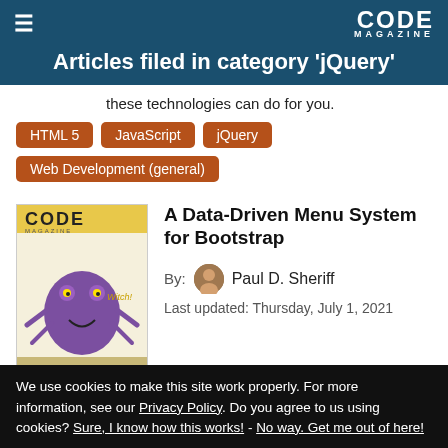Articles filed in category 'jQuery'
these technologies can do for you.
HTML 5
JavaScript
jQuery
Web Development (general)
A Data-Driven Menu System for Bootstrap
By: Paul D. Sheriff
Last updated: Thursday, July 1, 2021
We use cookies to make this site work properly. For more information, see our Privacy Policy. Do you agree to us using cookies? Sure, I know how this works! - No way. Get me out of here!